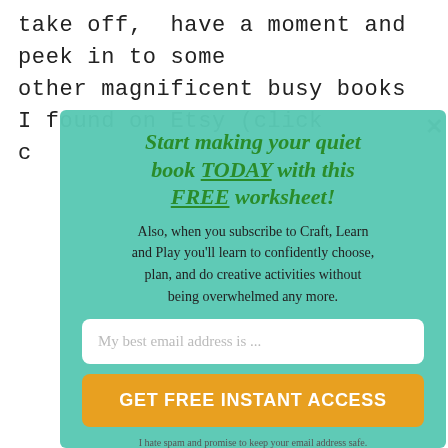take off,  have a moment and peek in to some other magnificent busy books I found on Etsy (click c
Start making your quiet book TODAY with this FREE worksheet!
Also, when you subscribe to Craft, Learn and Play you'll learn to confidently choose, plan, and do creative activities without being overwhelmed any more.
My best email address is ...
GET FREE INSTANT ACCESS
I hate spam and promise to keep your email address safe.